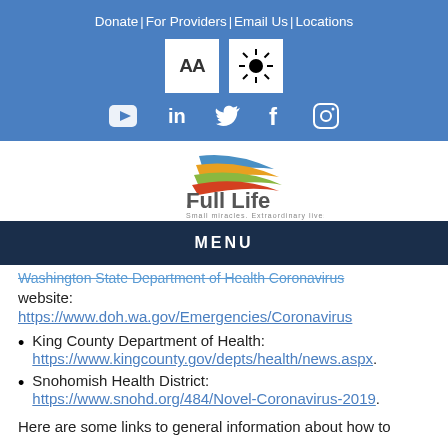Donate | For Providers | Email Us | Locations
[Figure (logo): Full Life logo with colorful swoosh shapes and tagline 'Small miracles. Extraordinary lives.']
MENU
Washington State Department of Health Coronavirus website:
https://www.doh.wa.gov/Emergencies/Coronavirus
King County Department of Health: https://www.kingcounty.gov/depts/health/news.aspx.
Snohomish Health District: https://www.snohd.org/484/Novel-Coronavirus-2019.
Here are some links to general information about how to